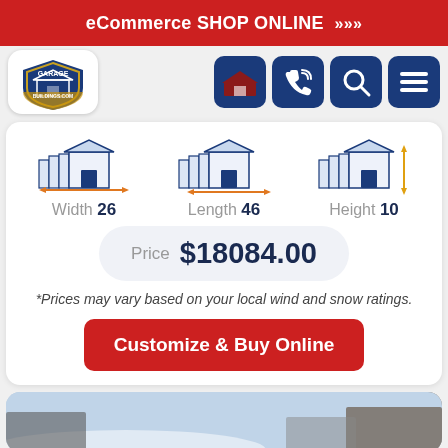eCommerce SHOP ONLINE >>>
[Figure (logo): GarageBuildings.com logo with shield and building icon]
[Figure (illustration): Navigation icons: building/home icon, phone icon, search icon, hamburger menu icon]
[Figure (illustration): Three garage building icons showing Width 26, Length 46, Height 10 dimensions]
Width 26   Length 46   Height 10
Price  $18084.00
*Prices may vary based on your local wind and snow ratings.
Customize & Buy Online
[Figure (photo): Partial view of a building/garage in a snowy outdoor setting]